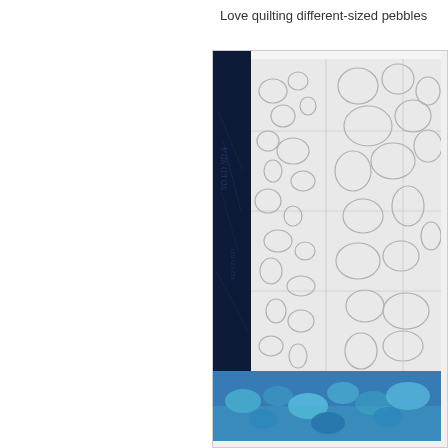Love quilting different-sized pebbles
[Figure (photo): Close-up photograph of a quilt showing white quilted fabric with pebble/bubble quilting pattern of different sizes on the right side, a dark navy blue fabric strip on the left edge, and colorful blue floral fabric at the bottom. The quilting shows textured raised areas creating rounded pebble shapes across the white fabric.]